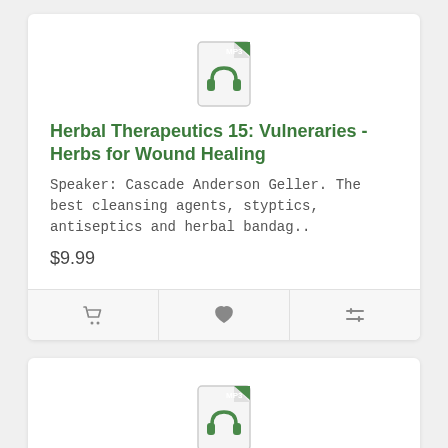[Figure (illustration): MP3 audio file icon with headphones, green and white]
Herbal Therapeutics 15: Vulneraries - Herbs for Wound Healing
Speaker: Cascade Anderson Geller. The best cleansing agents, styptics, antiseptics and herbal bandag..
$9.99
[Figure (illustration): MP3 audio file icon with headphones, green and white]
Preparing a Digestive Tonic with Adjuvants (Demonstration)
Speaker: Cascade Anderson Geller. When to add an adjuvant (assistant) herb to a formula and whi..
$9.99